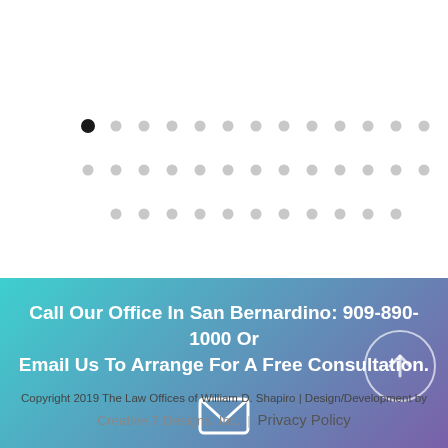[Figure (other): Decorative dot pattern grid: three rows of small circles, first row has one dark filled circle followed by many light gray circles, second and third rows all gray circles]
Call Our Office In San Bernardino: 909-890-1000 Or Email Us To Arrange For A Free Consultation.
[Figure (other): White open envelope icon]
[Figure (other): Back to top button: circle with upward arrow]
Copyright 2019 The Law Offices of William D. Shapiro | Design/Development by Creative 7 Designs, Inc. | Privacy Policy